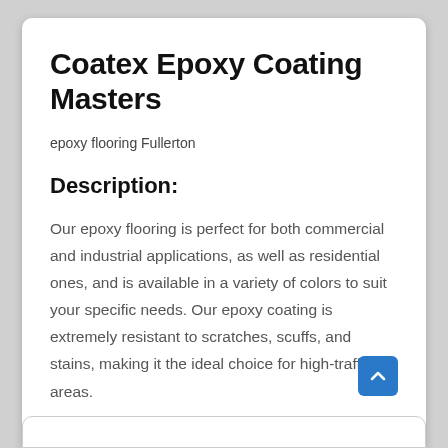Coatex Epoxy Coating Masters
epoxy flooring Fullerton
Description:
Our epoxy flooring is perfect for both commercial and industrial applications, as well as residential ones, and is available in a variety of colors to suit your specific needs. Our epoxy coating is extremely resistant to scratches, scuffs, and stains, making it the ideal choice for high-traffic areas.